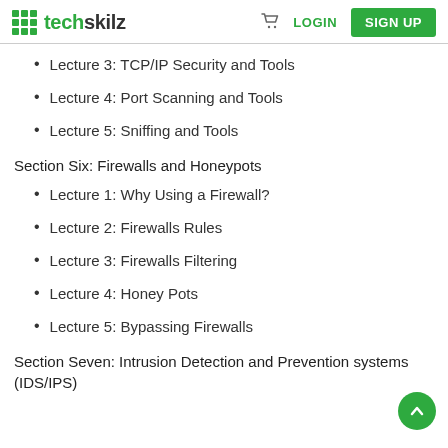techskilz — LOGIN | SIGN UP
Lecture 3: TCP/IP Security and Tools
Lecture 4: Port Scanning and Tools
Lecture 5: Sniffing and Tools
Section Six: Firewalls and Honeypots
Lecture 1: Why Using a Firewall?
Lecture 2: Firewalls Rules
Lecture 3: Firewalls Filtering
Lecture 4: Honey Pots
Lecture 5: Bypassing Firewalls
Section Seven: Intrusion Detection and Prevention systems (IDS/IPS)